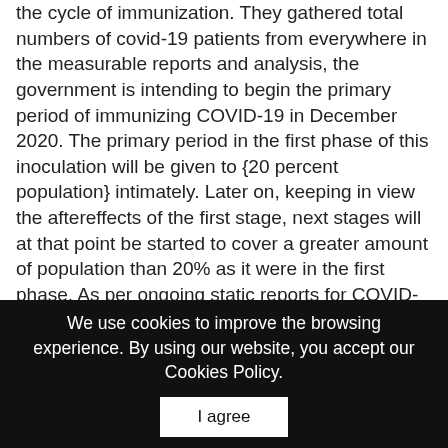the cycle of immunization. They gathered total numbers of covid-19 patients from everywhere in the measurable reports and analysis, the government is intending to begin the primary period of immunizing COVID-19 in December 2020. The primary period in the first phase of this inoculation will be given to {20 percent population} intimately. Later on, keeping in view the aftereffects of the first stage, next stages will at that point be started to cover a greater amount of population than 20% as it were in the first phase. As per ongoing static reports for COVID-19, it is expressed that the quantity of these antibody vaccine's doses that would be accessible in 2021 are {999999} almost. {343} number of infected patients are previously immunized altogether. Soon in the next few months, an enormous number of the population will be given the vaccine to fix COVID-19.
We use cookies to improve the browsing experience. By using our website, you accept our Cookies Policy.
I agree